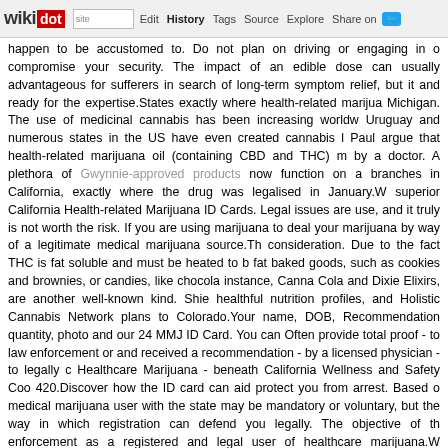wikidot | site | Edit | History | Tags | Source | Explore | Share on [Twitter]
happen to be accustomed to. Do not plan on driving or engaging in o compromise your security. The impact of an edible dose can usually advantageous for sufferers in search of long-term symptom relief, but it and ready for the expertise.States exactly where health-related marijua Michigan. The use of medicinal cannabis has been increasing worldw Uruguay and numerous states in the US have even created cannabis l Paul argue that health-related marijuana oil (containing CBD and THC) m by a doctor. A plethora of Gwynnie-approved products now function on a branches in California, exactly where the drug was legalised in January.W superior California Health-related Marijuana ID Cards. Legal issues are use, and it truly is not worth the risk. If you are using marijuana to deal your marijuana by way of a legitimate medical marijuana source.Th consideration. Due to the fact THC is fat soluble and must be heated to b fat baked goods, such as cookies and brownies, or candies, like chocola instance, Canna Cola and Dixie Elixirs, are another well-known kind. Shie healthful nutrition profiles, and Holistic Cannabis Network plans to Colorado.Your name, DOB, Recommendation quantity, photo and our 24 MMJ ID Card. You can Often provide total proof - to law enforcement or and received a recommendation - by a licensed physician - to legally c Healthcare Marijuana - beneath California Wellness and Safety Coo 420.Discover how the ID card can aid protect you from arrest. Based o medical marijuana user with the state may be mandatory or voluntary, but the way in which registration can defend you legally. The objective of th enforcement as a registered and legal user of healthcare marijuana.W marijuana program in California , escalating numbers of folks are starti applications that Ca delivers. For men and women who endure, now medicine alternative that numerous uncover to have relief that they are se negative effects or interactions which are standard with many prescriptio